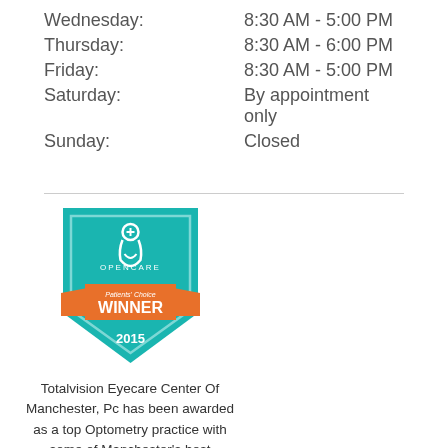| Day | Hours |
| --- | --- |
| Wednesday: | 8:30 AM - 5:00 PM |
| Thursday: | 8:30 AM - 6:00 PM |
| Friday: | 8:30 AM - 5:00 PM |
| Saturday: | By appointment only |
| Sunday: | Closed |
[Figure (logo): Opencare Patients' Choice WINNER 2015 badge - teal shield shape with orange ribbon banner]
Totalvision Eyecare Center Of Manchester, Pc has been awarded as a top Optometry practice with some of Manchester's best Optometrists.